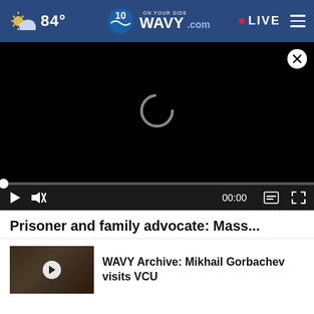84° | WAVY.com | LIVE
[Figure (screenshot): Video player with black screen, loading spinner, and playback controls showing 00:00]
Prisoner and family advocate: Mass...
[Figure (screenshot): Thumbnail image of WAVY Archive video showing Mikhail Gorbachev visits VCU]
WAVY Archive: Mikhail Gorbachev visits VCU